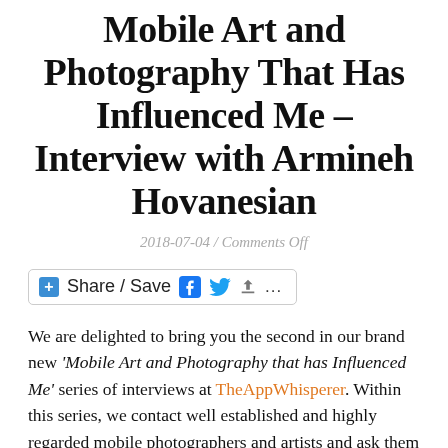Mobile Art and Photography That Has Influenced Me – Interview with Armineh Hovanesian
2018-07-04 / Comments Off
[Figure (other): Share / Save social media button bar with Facebook, Twitter, and share icons]
We are delighted to bring you the second in our brand new 'Mobile Art and Photography that has Influenced Me' series of interviews at TheAppWhisperer. Within this series, we contact well established and highly regarded mobile photographers and artists and ask them a sequence of questions. Each one relates to mobile art and photography that has inveigled and continues to impact them, by other mobile artists throughout the world. Our second interview